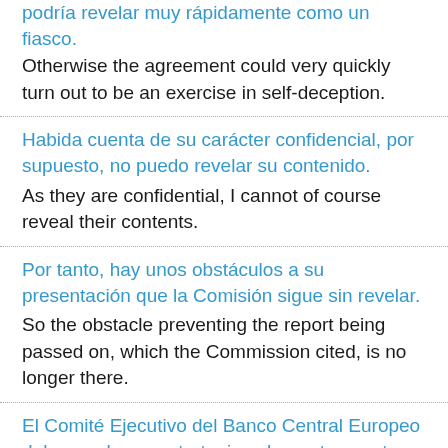podría revelar muy rápidamente como un fiasco. Otherwise the agreement could very quickly turn out to be an exercise in self-deception.
Habida cuenta de su carácter confidencial, por supuesto, no puedo revelar su contenido. As they are confidential, I cannot of course reveal their contents.
Por tanto, hay unos obstáculos a su presentación que la Comisión sigue sin revelar. So the obstacle preventing the report being passed on, which the Commission cited, is no longer there.
El Comité Ejecutivo del Banco Central Europeo debe revelar su estrategia sobre este asunto en